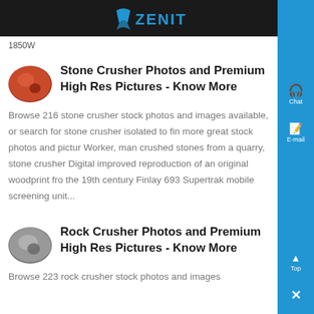ZENIT
1850W
Stone Crusher Photos and Premium High Res Pictures - Know More
Browse 216 stone crusher stock photos and images available, or search for stone crusher isolated to find more great stock photos and pictur Worker, man crushed stones from a quarry, stone crusher Digital improved reproduction of an original woodprint from the 19th century Finlay 693 Supertrak mobile screening unit...
Rock Crusher Photos and Premium High Res Pictures - Know More
Browse 223 rock crusher stock photos and images